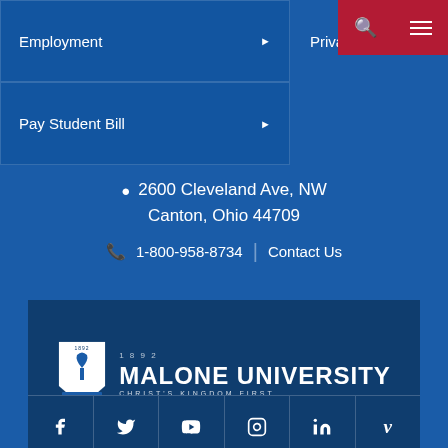Employment ▶
Privacy Policy
Pay Student Bill ▶
2600 Cleveland Ave, NW
Canton, Ohio 44709
1-800-958-8734 | Contact Us
[Figure (logo): Malone University logo with shield emblem and tagline 'Christ's Kingdom First']
[Figure (infographic): Social media icons row: Facebook, Twitter, YouTube, Instagram, LinkedIn, Vimeo]
BACK TO TOP